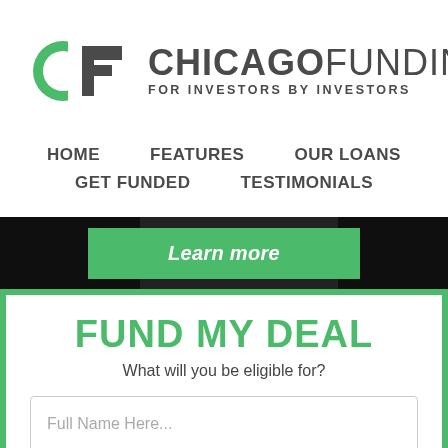[Figure (logo): Chicago Funding logo: stylized CF letters with green circle C and dark gray F, beside bold text CHICAGOFUNDING and subtitle FOR INVESTORS BY INVESTORS]
HOME
FEATURES
OUR LOANS
GET FUNDED
TESTIMONIALS
Learn more
FUND MY DEAL
What will you be eligible for?
Full Name Here...